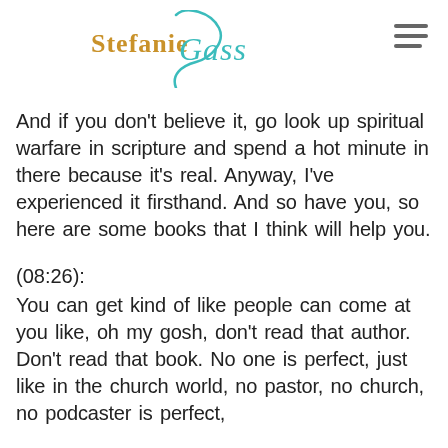Stefanie Gass
And if you don't believe it, go look up spiritual warfare in scripture and spend a hot minute in there because it's real. Anyway, I've experienced it firsthand. And so have you, so here are some books that I think will help you.
(08:26): You can get kind of like people can come at you like, oh my gosh, don't read that author. Don't read that book. No one is perfect, just like in the church world, no pastor, no church, no podcaster is perfect,